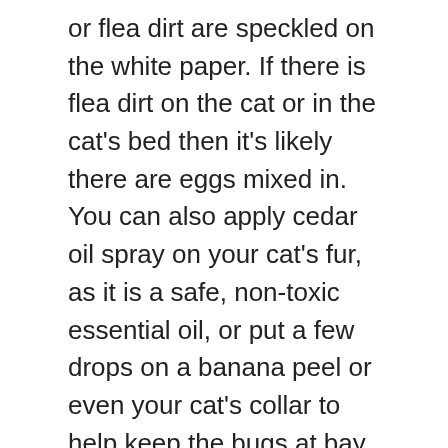or flea dirt are speckled on the white paper. If there is flea dirt on the cat or in the cat's bed then it's likely there are eggs mixed in. You can also apply cedar oil spray on your cat's fur, as it is a safe, non-toxic essential oil, or put a few drops on a banana peel or even your cat's collar to help keep the bugs at bay. Leaps of over a meter have been reported but most fleas leaps will not exceed the height of a cat, under a foot. The spice will make your cat's skin become very unappetizing to fleas. Flea dirt makes a rich food source for flea larva. lemon juice a widely-recognized home remedy. Cat Flea eggs will hatch quickly in warm damp environment. Here are some tips for identifying flea eggs on pets